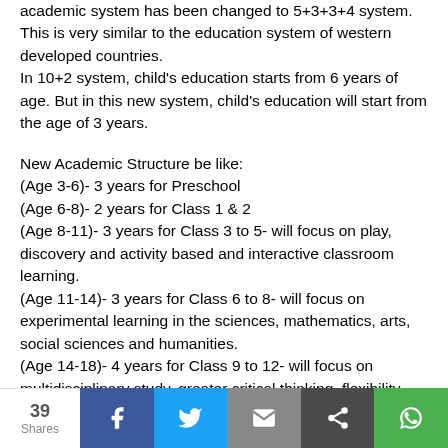academic system has been changed to 5+3+3+4 system. This is very similar to the education system of western developed countries. In 10+2 system, child's education starts from 6 years of age. But in this new system, child's education will start from the age of 3 years.
New Academic Structure be like:
(Age 3-6)- 3 years for Preschool
(Age 6-8)- 2 years for Class 1 & 2
(Age 8-11)- 3 years for Class 3 to 5- will focus on play, discovery and activity based and interactive classroom learning.
(Age 11-14)- 3 years for Class 6 to 8- will focus on experimental learning in the sciences, mathematics, arts, social sciences and humanities.
(Age 14-18)- 4 years for Class 9 to 12- will focus on multidisciplinary study, greater critical thinking, flexibility and student choice of subjects.
39 Shares | Facebook | Twitter | Email | Share | WhatsApp